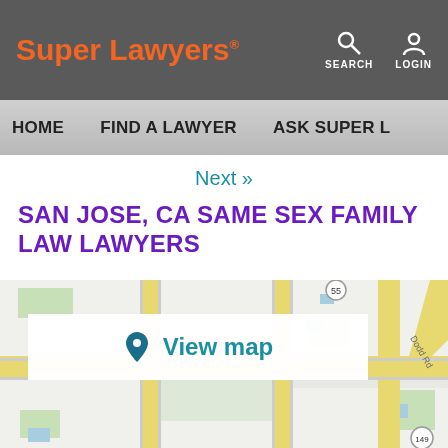Super Lawyers® | SEARCH | LOGIN
HOME | FIND A LAWYER | ASK SUPER L
Next »
SAN JOSE, CA SAME SEX FAMILY LAW LAWYERS
[Figure (map): Street map of San Jose, CA area showing roads and intersections including route 55 and Dodd Rd, with a 'View map' overlay button in the center.]